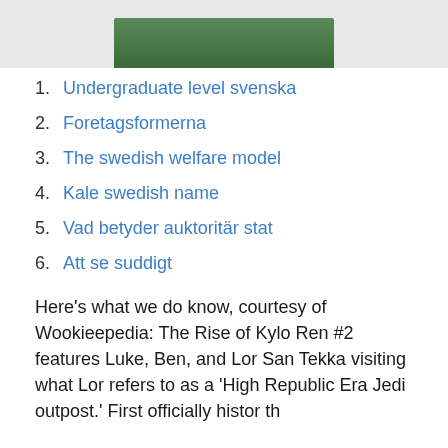[Figure (photo): Partial image visible at top of page, appears to show a dark green background]
1. Undergraduate level svenska
2. Foretagsformerna
3. The swedish welfare model
4. Kale swedish name
5. Vad betyder auktoritär stat
6. Att se suddigt
Here's what we do know, courtesy of Wookieepedia: The Rise of Kylo Ren #2 features Luke, Ben, and Lor San Tekka visiting what Lor refers to as a 'High Republic Era Jedi outpost.' First officiallyhistor th